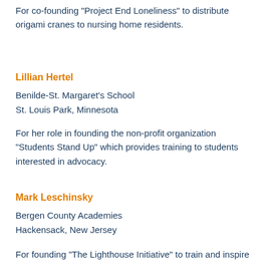For co-founding “Project End Loneliness” to distribute origami cranes to nursing home residents.
Lillian Hertel
Benilde-St. Margaret’s School
St. Louis Park, Minnesota
For her role in founding the non-profit organization “Students Stand Up” which provides training to students interested in advocacy.
Mark Leschinsky
Bergen County Academies
Hackensack, New Jersey
For founding “The Lighthouse Initiative” to train and inspire